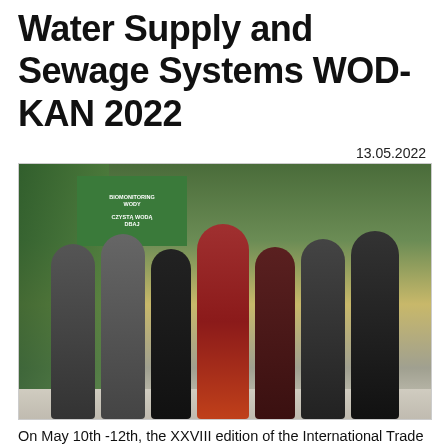Water Supply and Sewage Systems WOD-KAN 2022
13.05.2022
[Figure (photo): Group photo of seven people standing in front of a green exhibition booth at the WOD-KAN 2022 trade fair. The booth has banners with text including 'BIOMONITORING WODY'. The person in the center wears a distinctive red plaid suit. Others are in business attire with lanyards.]
On May 10th -12th, the XXVIII edition of the International Trade Fair of Machines and Equipment for